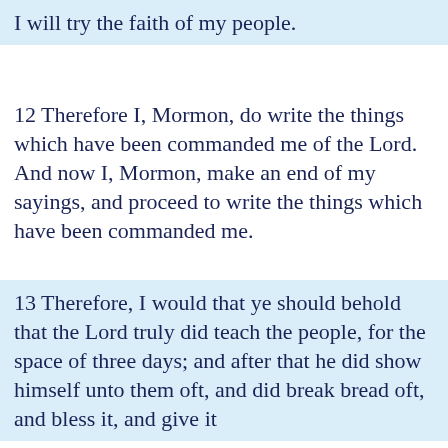I will try the faith of my people.
12 Therefore I, Mormon, do write the things which have been commanded me of the Lord. And now I, Mormon, make an end of my sayings, and proceed to write the things which have been commanded me.
13 Therefore, I would that ye should behold that the Lord truly did teach the people, for the space of three days; and after that he did show himself unto them oft, and did break bread oft, and bless it, and give it